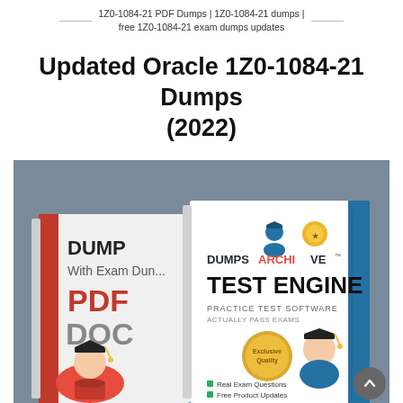1Z0-1084-21 PDF Dumps | 1Z0-1084-21 dumps | free 1Z0-1084-21 exam dumps updates
Updated Oracle 1Z0-1084-21 Dumps (2022)
[Figure (photo): Product image showing two DumpsArchive branded study materials: a PDF/DOC book on the left with a graduation cap character, and a Test Engine practice test software book on the right with a graduation cap character and DumpsArchive logo, set against a grey background.]